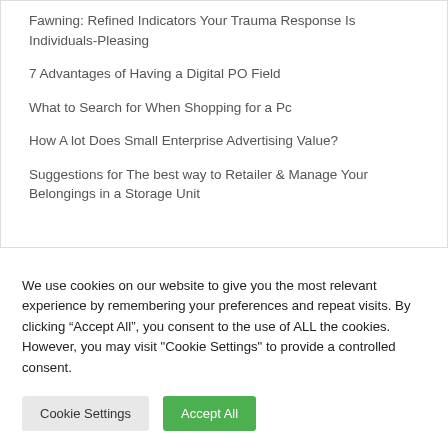Fawning: Refined Indicators Your Trauma Response Is Individuals-Pleasing
7 Advantages of Having a Digital PO Field
What to Search for When Shopping for a Pc
How A lot Does Small Enterprise Advertising Value?
Suggestions for The best way to Retailer & Manage Your Belongings in a Storage Unit
We use cookies on our website to give you the most relevant experience by remembering your preferences and repeat visits. By clicking “Accept All”, you consent to the use of ALL the cookies. However, you may visit "Cookie Settings" to provide a controlled consent.